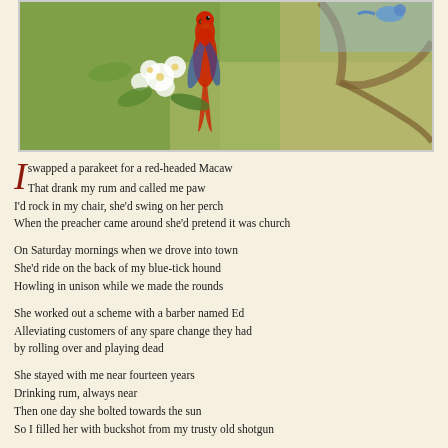[Figure (illustration): Vintage illustration of a red-headed Macaw (parrot) perched among white flowers and green foliage, with a branch visible on the right side. Painted in a classic style with muted colors.]
I swapped a parakeet for a red-headed Macaw
That drank my rum and called me paw
I'd rock in my chair, she'd swing on her perch
When the preacher came around she'd pretend it was church

On Saturday mornings when we drove into town
She'd ride on the back of my blue-tick hound
Howling in unison while we made the rounds

She worked out a scheme with a barber named Ed
Alleviating customers of any spare change they had
by rolling over and playing dead

She stayed with me near fourteen years
Drinking rum, always near
Then one day she bolted towards the sun
So I filled her with buckshot from my trusty old shotgun